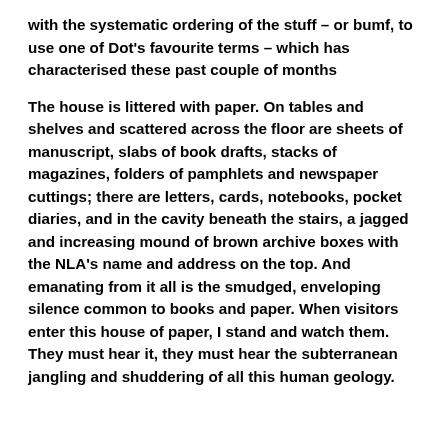with the systematic ordering of the stuff – or bumf, to use one of Dot's favourite terms – which has characterised these past couple of months
The house is littered with paper. On tables and shelves and scattered across the floor are sheets of manuscript, slabs of book drafts, stacks of magazines, folders of pamphlets and newspaper cuttings; there are letters, cards, notebooks, pocket diaries, and in the cavity beneath the stairs, a jagged and increasing mound of brown archive boxes with the NLA's name and address on the top. And emanating from it all is the smudged, enveloping silence common to books and paper. When visitors enter this house of paper, I stand and watch them. They must hear it, they must hear the subterranean jangling and shuddering of all this human geology.